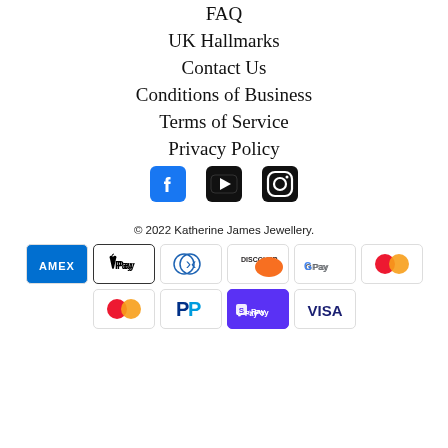FAQ
UK Hallmarks
Contact Us
Conditions of Business
Terms of Service
Privacy Policy
[Figure (infographic): Social media icons: Facebook, YouTube, Instagram]
© 2022 Katherine James Jewellery.
[Figure (infographic): Payment method logos: AMEX, Apple Pay, Diners Club, Discover, Google Pay, Mastercard (two circles), Mastercard, PayPal, Shop Pay, VISA]